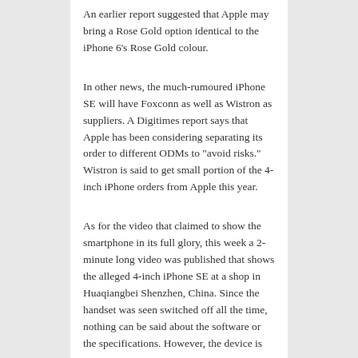An earlier report suggested that Apple may bring a Rose Gold option identical to the iPhone 6's Rose Gold colour.
In other news, the much-rumoured iPhone SE will have Foxconn as well as Wistron as suppliers. A Digitimes report says that Apple has been considering separating its order to different ODMs to "avoid risks." Wistron is said to get small portion of the 4-inch iPhone orders from Apple this year.
As for the video that claimed to show the smartphone in its full glory, this week a 2-minute long video was published that shows the alleged 4-inch iPhone SE at a shop in Huaqiangbei Shenzhen, China. Since the handset was seen switched off all the time, nothing can be said about the software or the specifications. However, the device is shown from all the angles in ...